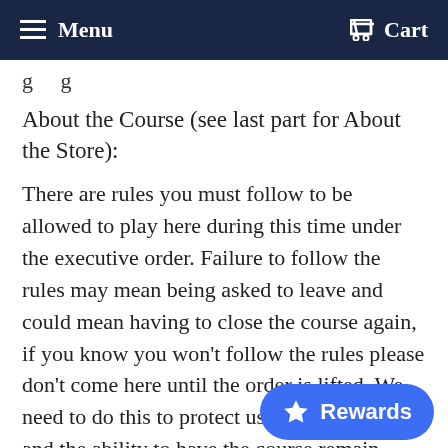Menu   Cart
g  g
About the Course (see last part for About the Store):
There are rules you must follow to be allowed to play here during this time under the executive order. Failure to follow the rules may mean being asked to leave and could mean having to close the course again, if you know you won't follow the rules please don't come here until the order is lifted. We need to do this to protect us, our customers, and the ability to have the course remain open.
Rules:
1. Everyone must follow all social  at all times. No sharing a smoke, no standing within